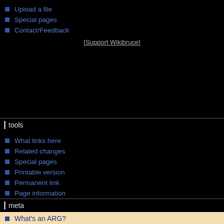Upload a file
Special pages
Contact/Feedback
[Support Wikibruce]
tools
What links here
Related changes
Special pages
Printable version
Permanent link
Page information
meta
What's an ARG?
ARGN.com News
ARGN Netcast
Unfiction forums
Wikibruce News/Wikis